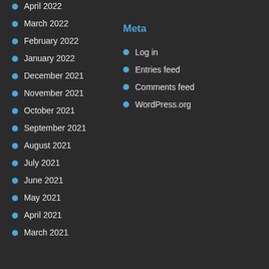April 2022
March 2022
Meta
February 2022
Log in
January 2022
Entries feed
December 2021
Comments feed
November 2021
WordPress.org
October 2021
September 2021
August 2021
July 2021
June 2021
May 2021
April 2021
March 2021